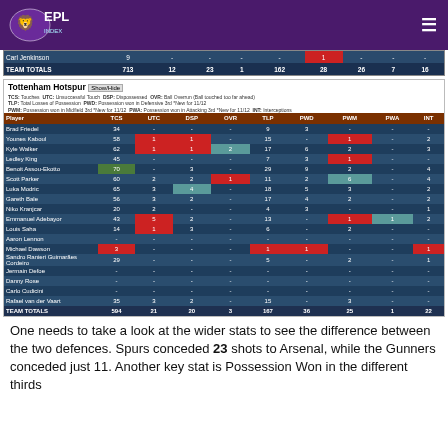EPL Index
| Player | TCS | UTC | DSP | OVR | TLP | PWD | PWM | PWA | INT |
| --- | --- | --- | --- | --- | --- | --- | --- | --- | --- |
| Carl Jenkinson | 9 | - | - | - | - | 1 | - | - | - |
| TEAM TOTALS | 713 | 12 | 23 | 1 | 162 | 28 | 26 | 7 | 16 |
| Player | TCS | UTC | DSP | OVR | TLP | PWD | PWM | PWA | INT |
| --- | --- | --- | --- | --- | --- | --- | --- | --- | --- |
| Brad Friedel | 34 | - | - | - | 9 | 3 | - | - | - |
| Younes Kaboul | 58 | 1 | 1 | - | 15 | - | 1 | - | 2 |
| Kyle Walker | 62 | 1 | 1 | 2 | 17 | 6 | 2 | - | 3 |
| Ledley King | 45 | - | - | - | 7 | 3 | 1 | - | - |
| Benoit Assou-Ekotto | 70 | - | 3 | - | 29 | 9 | 2 | - | 4 |
| Scott Parker | 60 | 2 | 2 | 1 | 11 | 2 | 6 | - | 4 |
| Luka Modric | 65 | 3 | 4 | - | 18 | 5 | 3 | - | 2 |
| Gareth Bale | 56 | 3 | 2 | - | 17 | 4 | 2 | - | 2 |
| Niko Kranjcar | 20 | 2 | - | - | 4 | 3 | - | - | 1 |
| Emmanuel Adebayor | 43 | 5 | 2 | - | 13 | - | 1 | 1 | 2 |
| Louis Saha | 14 | 1 | 3 | - | 6 | - | 2 | - | - |
| Aaron Lennon | - | - | - | - | - | - | - | - | - |
| Michael Dawson | 3 | - | - | - | 1 | 1 | - | - | 1 |
| Sandro Ranieri Guimarães Cordeiro | 29 | - | - | - | 5 | - | 2 | - | 1 |
| Jermain Defoe | - | - | - | - | - | - | - | - | - |
| Danny Rose | - | - | - | - | - | - | - | - | - |
| Carlo Cudicini | - | - | - | - | - | - | - | - | - |
| Rafael van der Vaart | 35 | 3 | 2 | - | 15 | - | 3 | - | - |
| TEAM TOTALS | 594 | 21 | 20 | 3 | 167 | 36 | 25 | 1 | 22 |
One needs to take a look at the wider stats to see the difference between the two defences. Spurs conceded 23 shots to Arsenal, while the Gunners conceded just 11. Another key stat is Possession Won in the different thirds